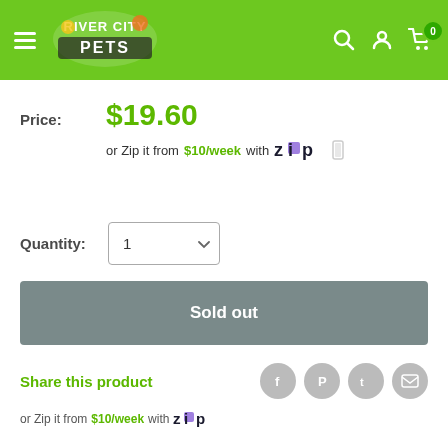River City Pets — navigation header with logo, search, account, cart (0)
Price: $19.60
or Zip it from $10/week with Zip
Quantity: 1
Sold out
Share this product
or Zip it from $10/week with Zip